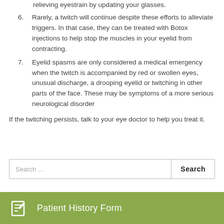relieving eyestrain by updating your glasses.
6. Rarely, a twitch will continue despite these efforts to alleviate triggers. In that case, they can be treated with Botox injections to help stop the muscles in your eyelid from contracting.
7. Eyelid spasms are only considered a medical emergency when the twitch is accompanied by red or swollen eyes, unusual discharge, a drooping eyelid or twitching in other parts of the face. These may be symptoms of a more serious neurological disorder
If the twitching persists, talk to your eye doctor to help you treat it.
[Figure (other): Search bar with text input field and Search button]
[Figure (other): Green banner with edit/form icon and text Patient History Form]